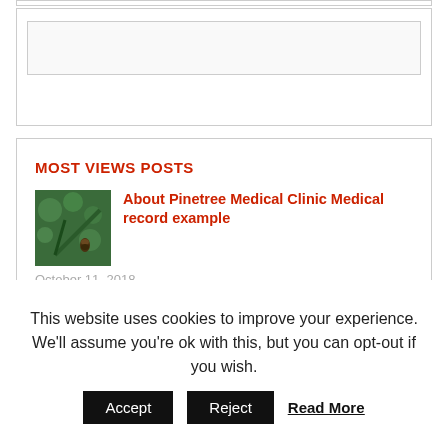[Figure (other): Empty ad/widget box with inner bordered rectangle]
MOST VIEWS POSTS
[Figure (photo): Thumbnail photo of a pine tree with a pine cone]
About Pinetree Medical Clinic Medical record example
October 11, 2018
[Figure (photo): Thumbnail photo of a person (partial face visible)]
How To Keep An Erection
This website uses cookies to improve your experience. We'll assume you're ok with this, but you can opt-out if you wish.
Accept
Reject
Read More